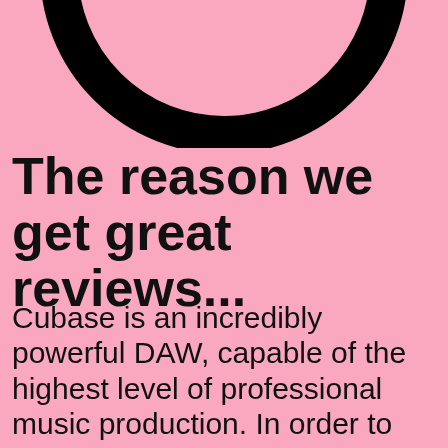[Figure (illustration): Partial view of a large black circular logo/icon on a pink background, cropped at the top of the page]
The reason we get great reviews...
Cubase is an incredibly powerful DAW, capable of the highest level of professional music production. In order to learn it, you need a tutorial with the same level of